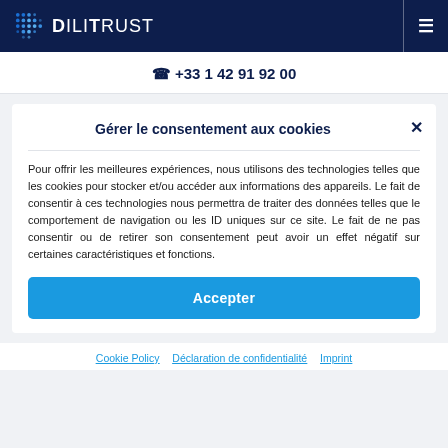DiliTrust
📞 +33 1 42 91 92 00
Gérer le consentement aux cookies
Pour offrir les meilleures expériences, nous utilisons des technologies telles que les cookies pour stocker et/ou accéder aux informations des appareils. Le fait de consentir à ces technologies nous permettra de traiter des données telles que le comportement de navigation ou les ID uniques sur ce site. Le fait de ne pas consentir ou de retirer son consentement peut avoir un effet négatif sur certaines caractéristiques et fonctions.
Accepter
Cookie Policy   Déclaration de confidentialité   Imprint